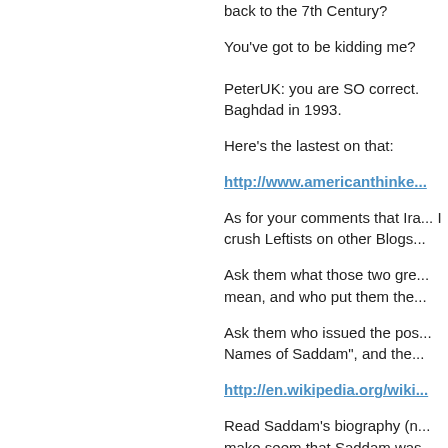back to the 7th Century?
You've got to be kidding me?
PeterUK: you are SO correct. Baghdad in 1993.
Here's the lastest on that:
http://www.americanthinke...
As for your comments that Ira... I crush Leftists on other Blogs...
Ask them what those two gre... mean, and who put them the...
Ask them who issued the pos... Names of Saddam", and the...
http://en.wikipedia.org/wiki...
Read Saddam's biography (n... make seem that Saddam wa...
He never knew his father, he... in-law, a gentleman named K...